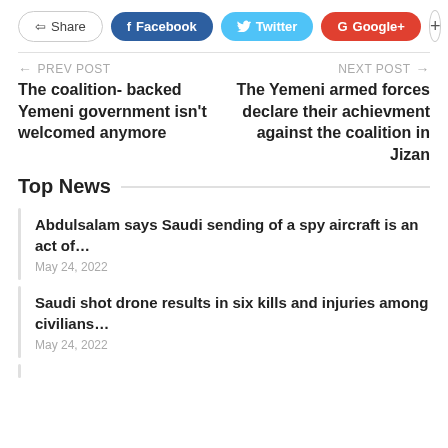[Figure (screenshot): Social share buttons: Share, Facebook, Twitter, Google+, plus button]
← PREV POST | The coalition- backed Yemeni government isn't welcomed anymore
NEXT POST → | The Yemeni armed forces declare their achievment against the coalition in Jizan
Top News
Abdulsalam says Saudi sending of a spy aircraft is an act of…
May 24, 2022
Saudi shot drone results in six kills and injuries among civilians…
May 24, 2022